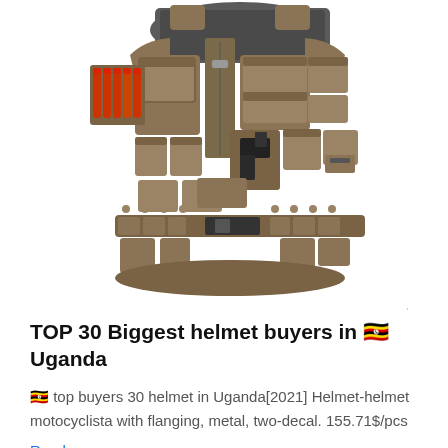[Figure (photo): A tactical military vest/plate carrier with multiple pouches, shotgun shell holders on the left side, a holster with a handgun on the right side, and a belt with pouches at the bottom. The vest is tan/olive color.]
TOP 30 Biggest helmet buyers in 🇺🇬 Uganda
🇺🇬 top buyers 30 helmet in Uganda[2021] Helmet-helmet motocyclista with flanging, metal, two-decal. 155.71$/pcs
Read more